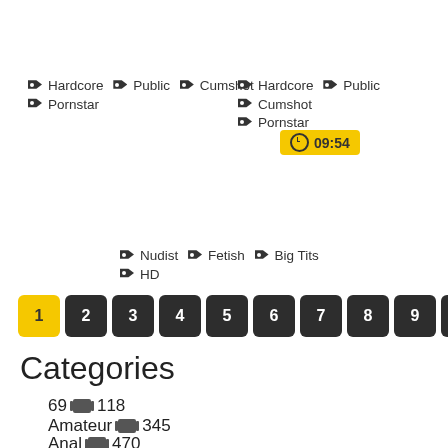Hardcore Public Cumshot Pornstar
Hardcore Public Cumshot Pornstar
09:54
Nudist Fetish Big Tits HD
1 2 3 4 5 6 7 8 9 10
Categories
69  118
Amateur  345
Anal  470